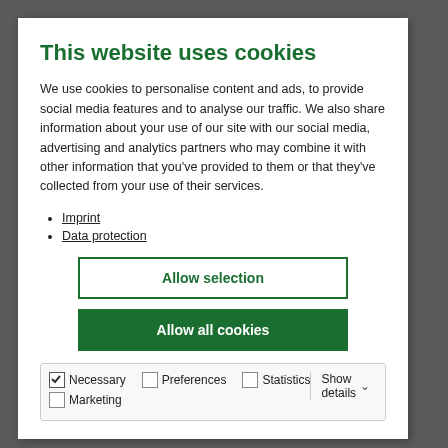This website uses cookies
We use cookies to personalise content and ads, to provide social media features and to analyse our traffic. We also share information about your use of our site with our social media, advertising and analytics partners who may combine it with other information that you’ve provided to them or that they’ve collected from your use of their services.
Imprint
Data protection
[Figure (other): Allow selection button - outlined green button]
[Figure (other): Allow all cookies button - solid green button]
[Figure (other): Cookie consent options bar with checkboxes for Necessary (checked), Preferences, Statistics, Marketing, and Show details dropdown]